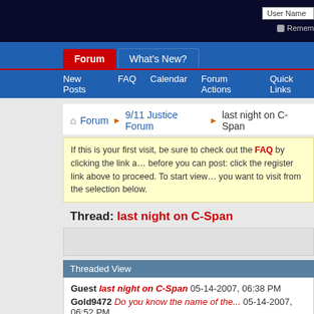User Name | Remember Me
Forum | What's New?
New Posts | FAQ | Calendar | Forum Actions | Quick Links
Forum > 9/11 Justice Forum > last night on C-Span
If this is your first visit, be sure to check out the FAQ by clicking the link above. You may have to register before you can post: click the register link above to proceed. To start viewing messages, select the forum that you want to visit from the selection below.
Thread: last night on C-Span
Threaded View
Guest last night on C-Span 05-14-2007, 06:38 PM
Gold9472 Do you know the name of the... 05-14-2007, 06:52 PM
Guest DUDE! I saw that! It was... 05-15-2007, 10:07 PM
Guest Maybe more aren't wearing... 05-16-2007, 12:13 AM
Guest I would like to state that I... 05-16-2007, 08:33 AM